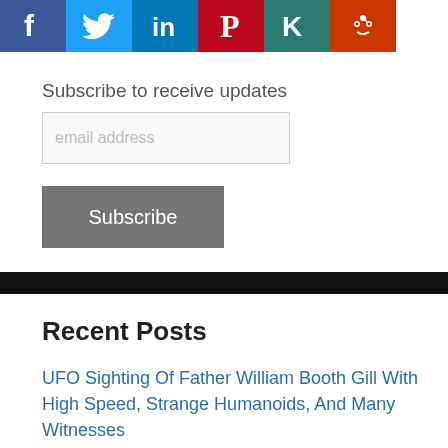[Figure (illustration): Social media share icons: Facebook (blue), Twitter (light blue), LinkedIn (dark blue), Pinterest (red), Klout (red-orange), Reddit (orange-red)]
Subscribe to receive updates
email address
Subscribe
Recent Posts
UFO Sighting Of Father William Booth Gill With High Speed, Strange Humanoids, And Many Witnesses